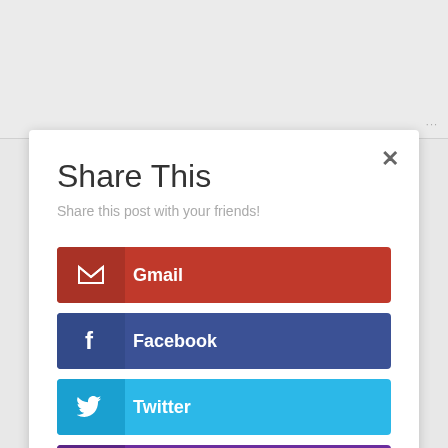[Figure (screenshot): Gray area at top representing a partially visible webpage or textarea content area with a resize handle in the bottom-right corner]
Share This
Share this post with your friends!
Gmail
Facebook
Twitter
Yahoo Mail